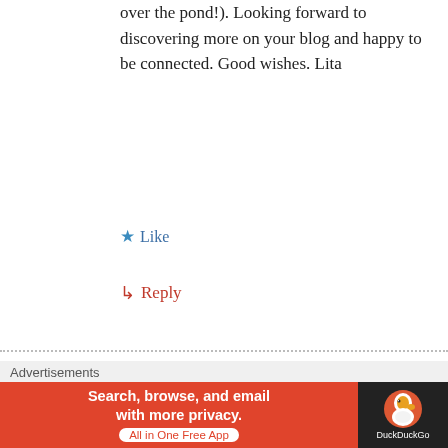over the pond!). Looking forward to discovering more on your blog and happy to be connected. Good wishes. Lita
★ Like
↳ Reply
[Figure (photo): Profile photo of a woman in black clothing standing outdoors]
★ Barbara Fisher
March 22, 2016 at 8:24 AM
Thank you so much for saying that, Lita. It's good especially now to know it helps. Bless you my new friend.
Advertisements
[Figure (screenshot): DuckDuckGo advertisement banner: Search, browse, and email with more privacy. All in One Free App]